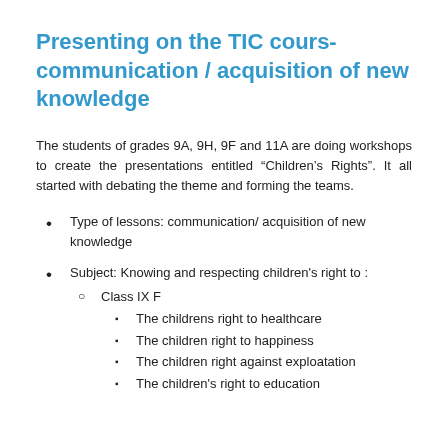Presenting on the TIC cours- communication/ acquisition of new knowledge
The students of grades 9A, 9H, 9F and 11A are doing workshops to create the presentations entitled “Children’s Rights”. It all started with debating the theme and forming the teams.
Type of lessons: communication/ acquisition of new knowledge
Subject: Knowing and respecting children's right to :
Class IX F
The childrens right to healthcare
The children right to happiness
The children right against exploatation
The children's right to education